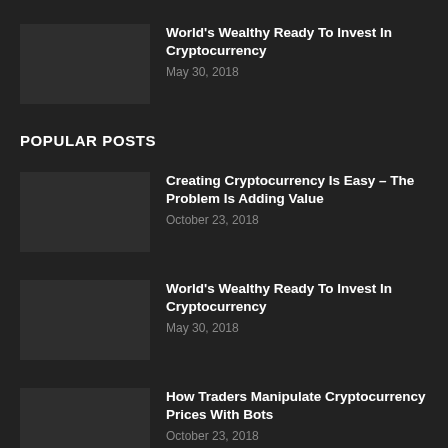World's Wealthy Ready To Invest In Cryptocurrency
May 30, 2018
POPULAR POSTS
Creating Cryptocurrency Is Easy – The Problem Is Adding Value
October 23, 2018
World's Wealthy Ready To Invest In Cryptocurrency
May 30, 2018
How Traders Manipulate Cryptocurrency Prices With Bots
October 23, 2018